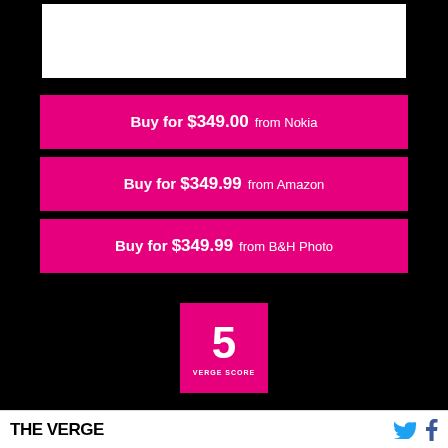[Figure (other): Top black bar with white box (product image area)]
Buy for $349.00 from Nokia
Buy for $349.99 from Amazon
Buy for $349.99 from B&H Photo
[Figure (infographic): Verge Score display showing score of 5 in a pink/magenta box on black background with label VERGE SCORE]
THE VERGE